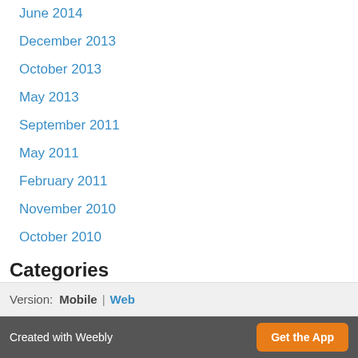June 2014
December 2013
October 2013
May 2013
September 2011
May 2011
February 2011
November 2010
October 2010
Categories
All
Geek
Uber-geek
Web
RSS Feed
Version: Mobile | Web
Created with Weebly  Get the App